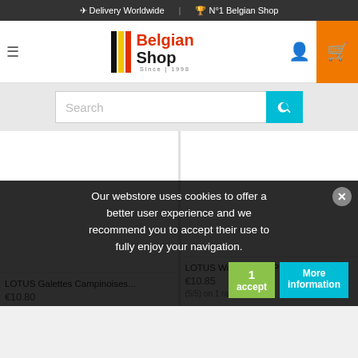✈ Delivery Worldwide | 🏆 N°1 Belgian Shop
[Figure (logo): Belgian Shop logo with black/yellow/red stripes and text 'Belgian Shop Since 1998']
Search
[Figure (screenshot): Product card: LOTUS Galettes Campinoises... €10.80]
[Figure (screenshot): Product card: LOTUS Waffles CRISPY 6X4 216g €10.85 (5/5) on 1 rating(s)]
Our webstore uses cookies to offer a better user experience and we recommend you to accept their use to fully enjoy your navigation.